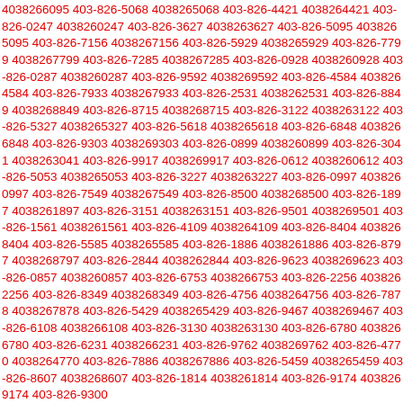4038266095 403-826-5068 4038265068 403-826-4421 4038264421 403-826-0247 4038260247 403-826-3627 4038263627 403-826-5095 4038265095 403-826-7156 4038267156 403-826-5929 4038265929 403-826-7799 4038267799 403-826-7285 4038267285 403-826-0928 4038260928 403-826-0287 4038260287 403-826-9592 4038269592 403-826-4584 4038264584 403-826-7933 4038267933 403-826-2531 4038262531 403-826-8849 4038268849 403-826-8715 4038268715 403-826-3122 4038263122 403-826-5327 4038265327 403-826-5618 4038265618 403-826-6848 4038266848 403-826-9303 4038269303 403-826-0899 4038260899 403-826-3041 4038263041 403-826-9917 4038269917 403-826-0612 4038260612 403-826-5053 4038265053 403-826-3227 4038263227 403-826-0997 4038260997 403-826-7549 4038267549 403-826-8500 4038268500 403-826-1897 4038261897 403-826-3151 4038263151 403-826-9501 4038269501 403-826-1561 4038261561 403-826-4109 4038264109 403-826-8404 4038268404 403-826-5585 4038265585 403-826-1886 4038261886 403-826-8797 4038268797 403-826-2844 4038262844 403-826-9623 4038269623 403-826-0857 4038260857 403-826-6753 4038266753 403-826-2256 4038262256 403-826-8349 4038268349 403-826-4756 4038264756 403-826-7878 4038267878 403-826-5429 4038265429 403-826-9467 4038269467 403-826-6108 4038266108 403-826-3130 4038263130 403-826-6780 4038266780 403-826-6231 4038266231 403-826-9762 4038269762 403-826-4770 4038264770 403-826-7886 4038267886 403-826-5459 4038265459 403-826-8607 4038268607 403-826-1814 4038261814 403-826-9174 4038269174 403-826-9300